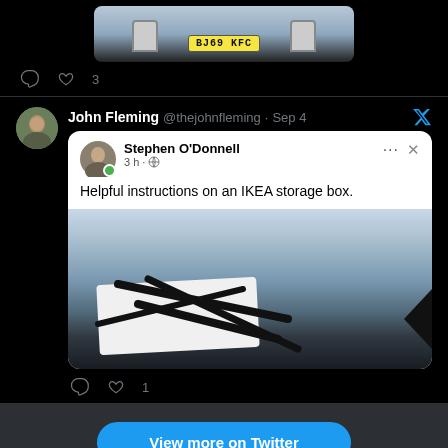[Figure (screenshot): Top portion of a tweet showing a car with UK license plate BJ69 KFC, comment and heart icons with count 3]
John Fleming @thejohnfleming · Sep 4
[Figure (screenshot): Embedded Facebook/social post by Stephen O'Donnell, 3h, globe icon. Text: 'Helpful instructions on an IKEA storage box.' with photo of an IKEA storage box interior showing crossed-out instructions sticker]
♡ 1
View more on Twitter
Learn more about privacy on Twitter